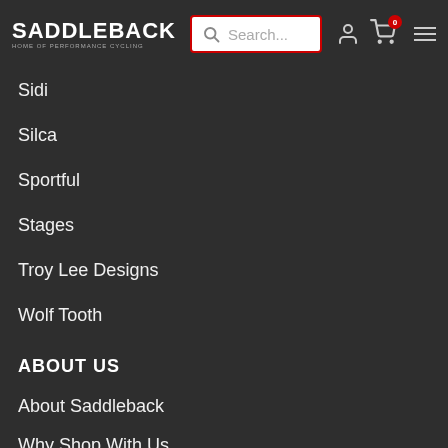SADDLEBACK - HOME OF PERFORMANCE CYCLING
Sidi
Silca
Sportful
Stages
Troy Lee Designs
Wolf Tooth
ABOUT US
About Saddleback
Why Shop With Us
Bespoke Wheel Building
Our Team
Crash Replacement
Riders' Club Sign-up